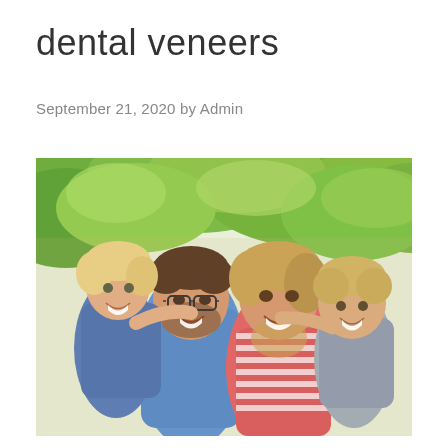dental veneers
September 21, 2020 by Admin
[Figure (photo): A smiling family of four outdoors with green leafy trees in the background. A man with glasses and a beard carries a young blonde girl on his back on the left, while a woman in a red and white striped shirt has a young boy on her back on the right. All four are smiling broadly.]